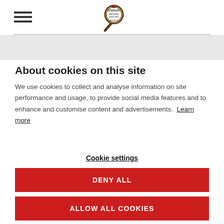Tewbury Natural History Society logo with hamburger menu
About cookies on this site
We use cookies to collect and analyse information on site performance and usage, to provide social media features and to enhance and customise content and advertisements. Learn more
Cookie settings
DENY ALL
ALLOW ALL COOKIES